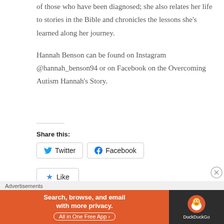of those who have been diagnosed; she also relates her life to stories in the Bible and chronicles the lessons she's learned along her journey.
Hannah Benson can be found on Instagram @hannah_benson94 or on Facebook on the Overcoming Autism Hannah's Story.
Share this:
[Figure (other): Social share buttons for Twitter and Facebook, and a Like button with a star icon]
Advertisements
[Figure (other): DuckDuckGo advertisement banner: 'Search, browse, and email with more privacy. All in One Free App' with DuckDuckGo duck logo on dark background]